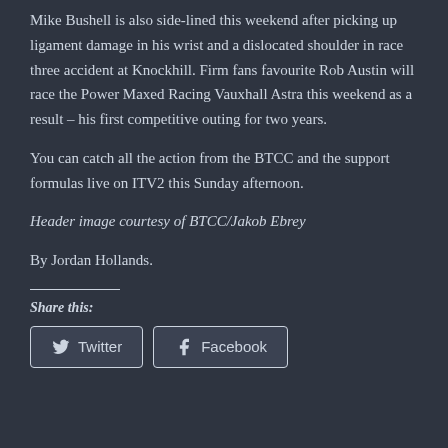Mike Bushell is also side-lined this weekend after picking up ligament damage in his wrist and a dislocated shoulder in race three accident at Knockhill. Firm fans favourite Rob Austin will race the Power Maxed Racing Vauxhall Astra this weekend as a result – his first competitive outing for two years.
You can catch all the action from the BTCC and the support formulas live on ITV2 this Sunday afternoon.
Header image courtesy of BTCC/Jakob Ebrey
By Jordan Hollands.
Share this:
Twitter
Facebook